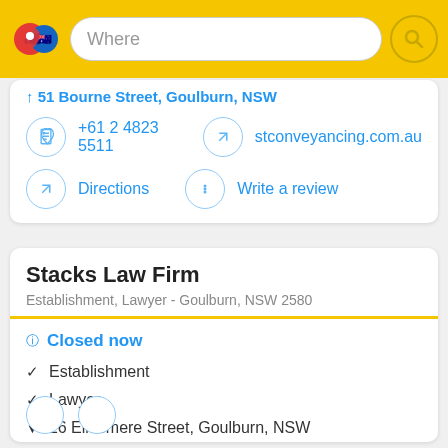[Figure (screenshot): Yellow top navigation bar with map pin logo, 'Where' search box, and search button]
51 Bourne Street, Goulburn, NSW
+61 2 4823 5511
stconveyancing.com.au
Directions
Write a review
Stacks Law Firm
Establishment, Lawyer - Goulburn, NSW 2580
Closed now
Establishment
Lawyer
26 Ellesmere Street, Goulburn, NSW